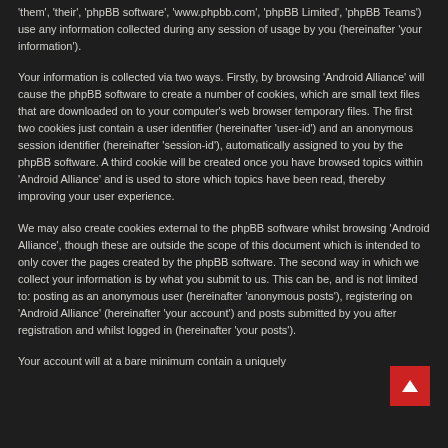'them', 'their', 'phpBB software', 'www.phpbb.com', 'phpBB Limited', 'phpBB Teams') use any information collected during any session of usage by you (hereinafter 'your information').
Your information is collected via two ways. Firstly, by browsing 'Android Alliance' will cause the phpBB software to create a number of cookies, which are small text files that are downloaded on to your computer's web browser temporary files. The first two cookies just contain a user identifier (hereinafter 'user-id') and an anonymous session identifier (hereinafter 'session-id'), automatically assigned to you by the phpBB software. A third cookie will be created once you have browsed topics within 'Android Alliance' and is used to store which topics have been read, thereby improving your user experience.
We may also create cookies external to the phpBB software whilst browsing 'Android Alliance', though these are outside the scope of this document which is intended to only cover the pages created by the phpBB software. The second way in which we collect your information is by what you submit to us. This can be, and is not limited to: posting as an anonymous user (hereinafter 'anonymous posts'), registering on 'Android Alliance' (hereinafter 'your account') and posts submitted by you after registration and whilst logged in (hereinafter 'your posts').
Your account will at a bare minimum contain a uniquely